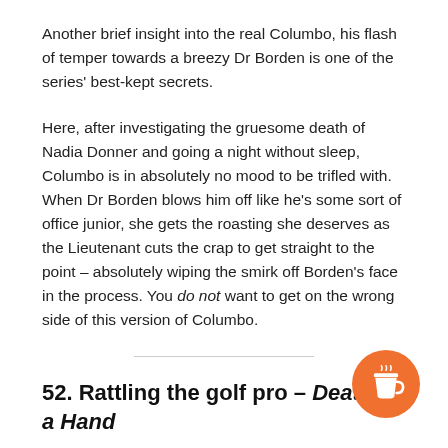Another brief insight into the real Columbo, his flash of temper towards a breezy Dr Borden is one of the series' best-kept secrets.
Here, after investigating the gruesome death of Nadia Donner and going a night without sleep, Columbo is in absolutely no mood to be trifled with. When Dr Borden blows him off like he's some sort of office junior, she gets the roasting she deserves as the Lieutenant cuts the crap to get straight to the point – absolutely wiping the smirk off Borden's face in the process. You do not want to get on the wrong side of this version of Columbo.
52. Rattling the golf pro – Death Lends a Hand